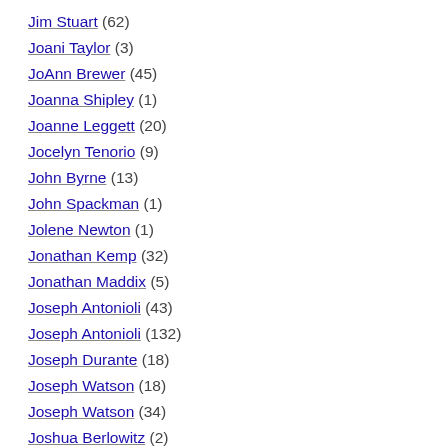Jim Stuart (62)
Joani Taylor (3)
JoAnn Brewer (45)
Joanna Shipley (1)
Joanne Leggett (20)
Jocelyn Tenorio (9)
John Byrne (13)
John Spackman (1)
Jolene Newton (1)
Jonathan Kemp (32)
Jonathan Maddix (5)
Joseph Antonioli (43)
Joseph Antonioli (132)
Joseph Durante (18)
Joseph Watson (18)
Joseph Watson (34)
Joshua Berlowitz (2)
Joshua Kruskal (3)
Joy Pile (7)